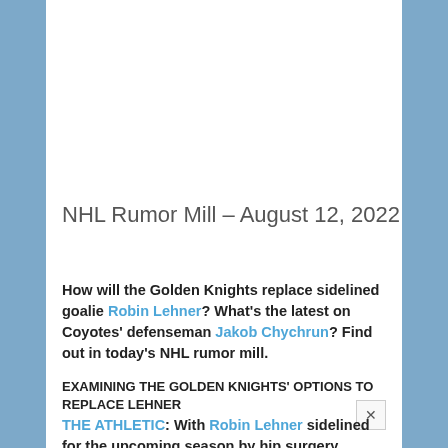NHL Rumor Mill – August 12, 2022
How will the Golden Knights replace sidelined goalie Robin Lehner? What's the latest on Coyotes' defenseman Jakob Chychrun? Find out in today's NHL rumor mill.
EXAMINING THE GOLDEN KNIGHTS' OPTIONS TO REPLACE LEHNER
THE ATHLETIC: With Robin Lehner sidelined for the upcoming season by hip surgery, Jesse